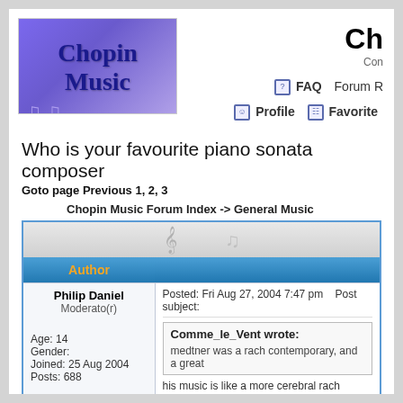[Figure (logo): Chopin Music forum logo with purple flower background and musical notes]
Ch... Com... FAQ  Forum R... Profile  Favorite...
Who is your favourite piano sonata composer
Goto page Previous  1, 2, 3
Chopin Music Forum Index -> General Music
| Author | Message |
| --- | --- |
| Philip Daniel
Moderato(r)

Age: 14
Gender:
Joined: 25 Aug 2004
Posts: 688 | Posted: Fri Aug 27, 2004 7:47 pm   Post subject:

Comme_le_Vent wrote:
medtner was a rach contemporary, and a great...
his music is like a more cerebral rach |